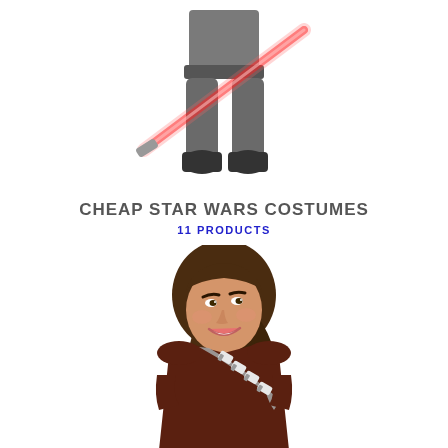[Figure (photo): Cropped lower body of a Star Wars Darth Vader costume figure holding a red lightsaber, blurred/partial view, dark gray armor and boots visible]
CHEAP STAR WARS COSTUMES
11 PRODUCTS
[Figure (photo): Smiling young woman with long brown hair wearing a brown Chewbacca-style Star Wars t-shirt costume with bandolier strap, white background]